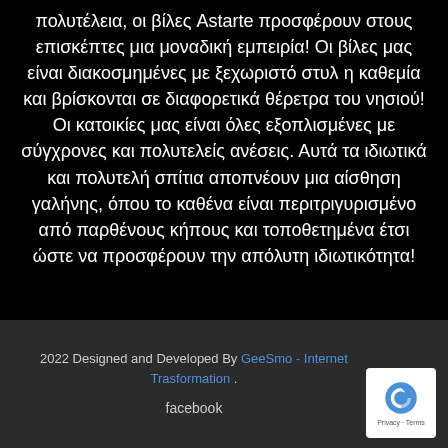πολυτέλεια, οι βίλες Astarte προσφέρουν στους επισκέπτες μια μοναδική εμπειρία! Οι βίλες μας είναι διακοσμημένες με ξεχωριστό στυλ η καθεμία και βρίσκονται σε διαφορετικά θέρετρα του νησιού! Οι κατοικίες μας είναι όλες εξοπλισμένες με σύγχρονες και πολυτελείς ανέσεις. Αυτά τα ιδιωτικά και πολυτελή σπίτια αποπνέουν μια αίσθηση γαλήνης, όπου το καθένα είναι περιτριγυρισμένο από παρθένους κήπους και τοποθετημένα έτσι ώστε να προσφέρουν την απόλυτη ιδιωτικότητα!
2022 Designed and Developed By GeeSmo - Internet Trasformation . facebook